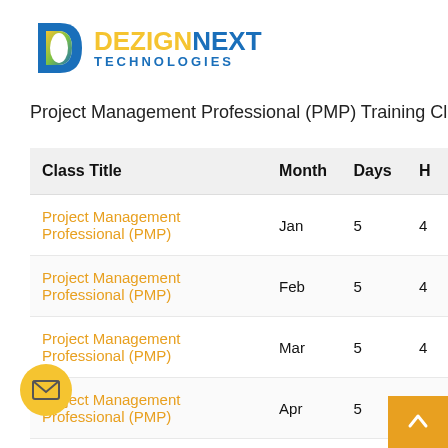[Figure (logo): DezignNext Technologies logo with stylized D icon and blue text]
Project Management Professional (PMP) Training Class Schedule
| Class Title | Month | Days | H |
| --- | --- | --- | --- |
| Project Management Professional (PMP) | Jan | 5 | 4 |
| Project Management Professional (PMP) | Feb | 5 | 4 |
| Project Management Professional (PMP) | Mar | 5 | 4 |
| Project Management Professional (PMP) | Apr | 5 | 4 |
| Project Management Professional (PMP) | May | 5 | 4 |
| Project Management Professional (PMP) | Jun | 5 | 4 |
| Project Management Professional (PMP) | Jul | 5 | 4 |
| Project Management Professional (PMP) | Aug | 5 | 4 |